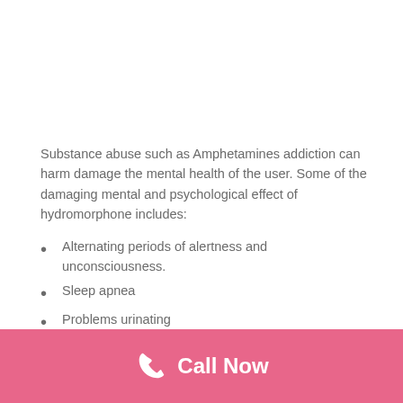Substance abuse such as Amphetamines addiction can harm damage the mental health of the user. Some of the damaging mental and psychological effect of hydromorphone includes:
Alternating periods of alertness and unconsciousness.
Sleep apnea
Problems urinating
Weakened immune system
Hallucinations
Call Now